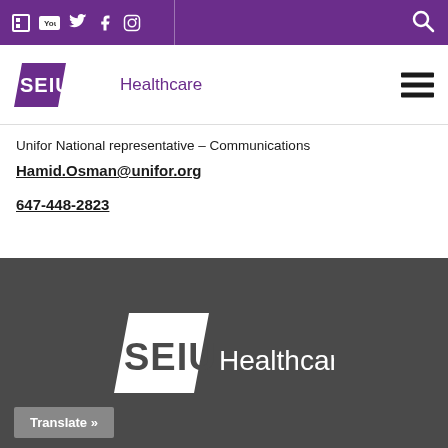SEIU Healthcare – top navigation bar with social icons and search
[Figure (logo): SEIU Healthcare logo with purple parallelogram shape and text]
Unifor National representative – Communications
Hamid.Osman@unifor.org
647-448-2823
[Figure (logo): SEIU Healthcare footer logo in white on dark grey background]
Translate »